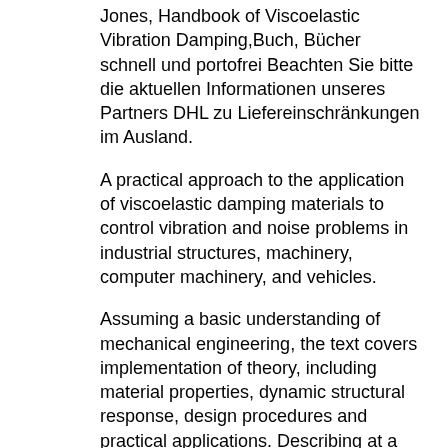Jones, Handbook of Viscoelastic Vibration Damping,Buch, Bücher schnell und portofrei Beachten Sie bitte die aktuellen Informationen unseres Partners DHL zu Liefereinschränkungen im Ausland.
A practical approach to the application of viscoelastic damping materials to control vibration and noise problems in industrial structures, machinery, computer machinery, and vehicles.
Assuming a basic understanding of mechanical engineering, the text covers implementation of theory, including material properties, dynamic structural response, design procedures and practical applications. Describing at a fundamental level the improvements in knowledge of viscoelastic damping which have occurred in recent years, this text will allow engineers to increase their understanding of basic principles and hence improve their appreciation of the potential damping applications of viscoelastic materials.
Handbook of viscoelastic vibration damping. [David I G Jones] Home. WorldCat Home About WorldCat Help. Search. Search for Library Items Search for